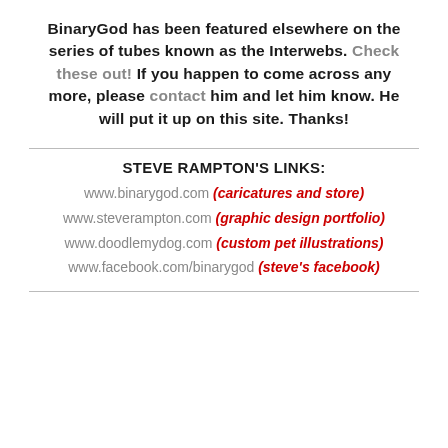BinaryGod has been featured elsewhere on the series of tubes known as the Interwebs. Check these out! If you happen to come across any more, please contact him and let him know. He will put it up on this site. Thanks!
STEVE RAMPTON'S LINKS:
www.binarygod.com (caricatures and store)
www.steverampton.com (graphic design portfolio)
www.doodlemydog.com (custom pet illustrations)
www.facebook.com/binarygod (steve's facebook)